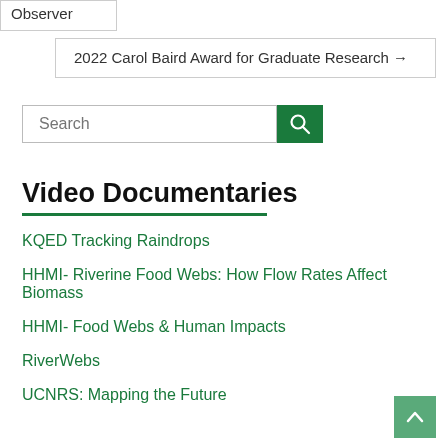Observer
2022 Carol Baird Award for Graduate Research →
Search
Video Documentaries
KQED Tracking Raindrops
HHMI- Riverine Food Webs: How Flow Rates Affect Biomass
HHMI- Food Webs & Human Impacts
RiverWebs
UCNRS: Mapping the Future